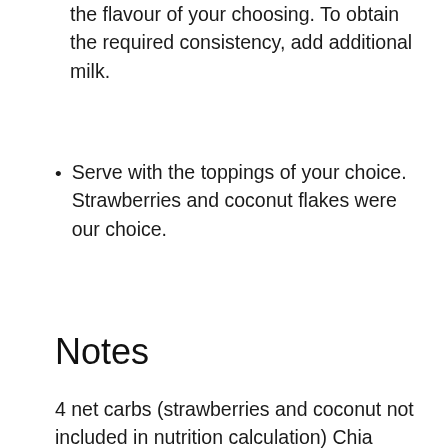the flavour of your choosing. To obtain the required consistency, add additional milk.
Serve with the toppings of your choice. Strawberries and coconut flakes were our choice.
Notes
4 net carbs (strawberries and coconut not included in nutrition calculation) Chia pudding may be kept in an airtight jar in the refrigerator for up to a week without toppings. If using canned coconut milk, add just 3 tablespoons and leave the remaining 1 cup to water.